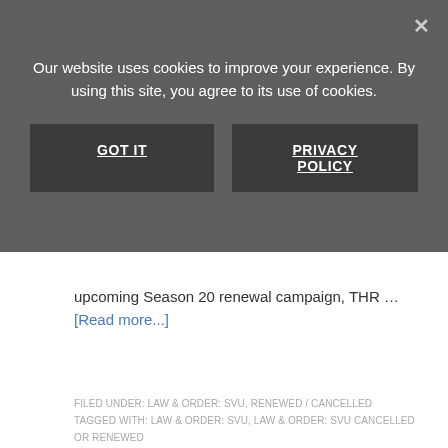Our website uses cookies to improve your experience. By using this site, you agree to its use of cookies.
GOT IT
PRIVACY POLICY
upcoming Season 20 renewal campaign, THR … [Read more...]
FILED UNDER: LAW & ORDER: SVU, RENEWED / CANCELLED
TAGGED WITH: LAW & ORDER: SVU, LAW & ORDER: SVU CANCELLED OR RENEWED